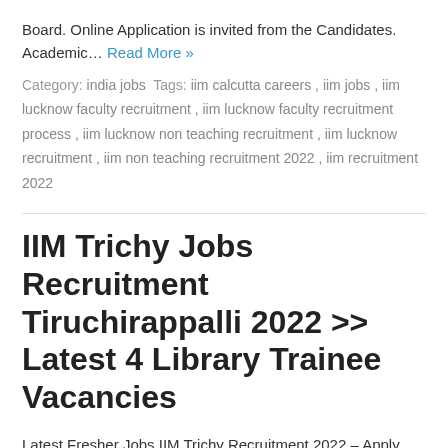Board. Online Application is invited from the Candidates. Academic… Read More »
Category: india jobs  Tags: iim calcutta careers , iim jobs , iim lucknow faculty recruitment , iim lucknow faculty recruitment process , iim lucknow non teaching recruitment , iim lucknow recruitment , iim non teaching recruitment 2022 , iim recruitment 2022
IIM Trichy Jobs Recruitment Tiruchirappalli 2022 >> Latest 4 Library Trainee Vacancies
Latest Fresher Jobs IIM Trichy Recruitment 2022 – Apply Online 4 Library Trainee Recruitment: Tamil Nadu Urban